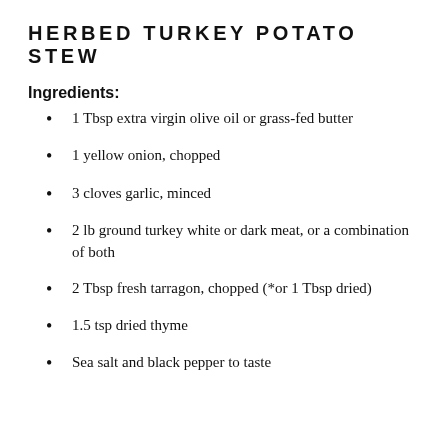HERBED TURKEY POTATO STEW
Ingredients:
1 Tbsp extra virgin olive oil or grass-fed butter
1 yellow onion, chopped
3 cloves garlic, minced
2 lb ground turkey white or dark meat, or a combination of both
2 Tbsp fresh tarragon, chopped (*or 1 Tbsp dried)
1.5 tsp dried thyme
Sea salt and black pepper to taste